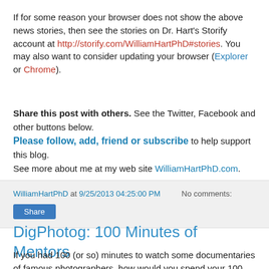If for some reason your browser does not show the above news stories, then see the stories on Dr. Hart's Storify account at http://storify.com/WilliamHartPhD#stories. You may also want to consider updating your browser (Explorer or Chrome).
Share this post with others. See the Twitter, Facebook and other buttons below.
Please follow, add, friend or subscribe to help support this blog.
See more about me at my web site WilliamHartPhD.com.
WilliamHartPhD at 9/25/2013 04:25:00 PM   No comments:
Share
DigPhotog: 100 Minutes of Mentors
If you had 100 (or so) minutes to watch some documentaries of famous photographers, how would you spend your 100